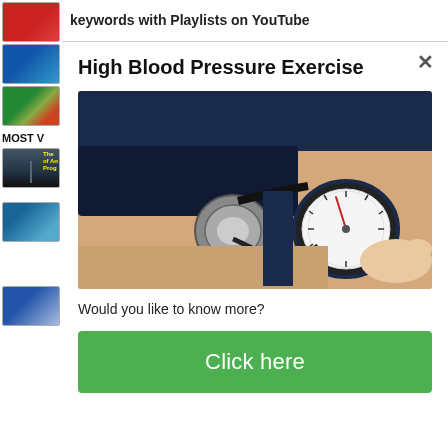keywords with Playlists on YouTube
High Blood Pressure Exercise
[Figure (photo): Close-up photo of a doctor measuring blood pressure on a patient's arm using a sphygmomanometer with an analog gauge]
Would you like to know more?
Click here